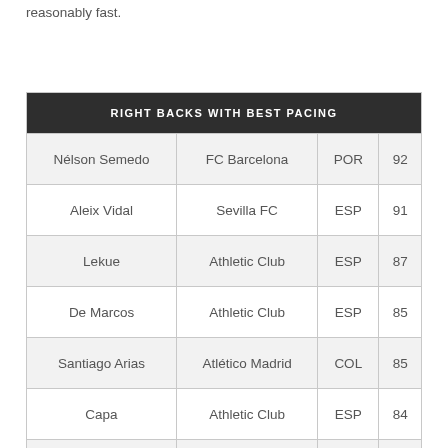reasonably fast.
| RIGHT BACKS WITH BEST PACING |
| --- |
| Nélson Semedo | FC Barcelona | POR | 92 |
| Aleix Vidal | Sevilla FC | ESP | 91 |
| Lekue | Athletic Club | ESP | 87 |
| De Marcos | Athletic Club | ESP | 85 |
| Santiago Arias | Atlético Madrid | COL | 85 |
| Capa | Athletic Club | ESP | 84 |
| Rubén Peña | SD Eibar | ESP | 84 |